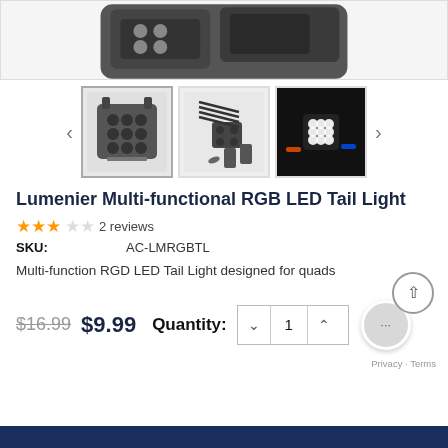[Figure (photo): Product hero image showing an LED board mounted on a drone frame, top portion visible]
[Figure (photo): Thumbnail 1: LED board circuit board with 12 LEDs in a 3x4 grid]
[Figure (photo): Thumbnail 2: LED board with cable ties and accessories]
[Figure (photo): Thumbnail 3: LED board glowing bright white light installed on drone]
Lumenier Multi-functional RGB LED Tail Light
★★★☆☆ 2 reviews
SKU: AC-LMRGBTL
Multi-function RGD LED Tail Light designed for quads
$16.99  $9.99  Quantity: 1